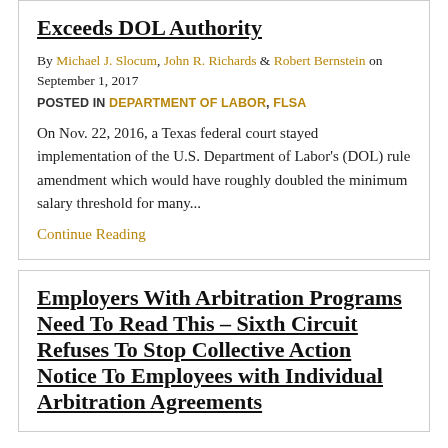Exceeds DOL Authority
By Michael J. Slocum, John R. Richards & Robert Bernstein on September 1, 2017
POSTED IN DEPARTMENT OF LABOR, FLSA
On Nov. 22, 2016, a Texas federal court stayed implementation of the U.S. Department of Labor's (DOL) rule amendment which would have roughly doubled the minimum salary threshold for many...
Continue Reading
Employers With Arbitration Programs Need To Read This – Sixth Circuit Refuses To Stop Collective Action Notice To Employees with Individual Arbitration Agreements